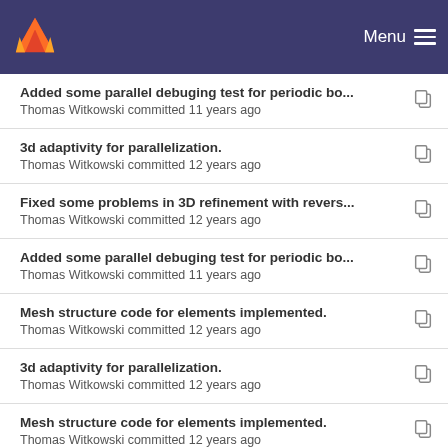GitLab — Menu
Added some parallel debuging test for periodic bo...
Thomas Witkowski committed 11 years ago
3d adaptivity for parallelization.
Thomas Witkowski committed 12 years ago
Fixed some problems in 3D refinement with revers...
Thomas Witkowski committed 12 years ago
Added some parallel debuging test for periodic bo...
Thomas Witkowski committed 11 years ago
Mesh structure code for elements implemented.
Thomas Witkowski committed 12 years ago
3d adaptivity for parallelization.
Thomas Witkowski committed 12 years ago
Mesh structure code for elements implemented.
Thomas Witkowski committed 12 years ago